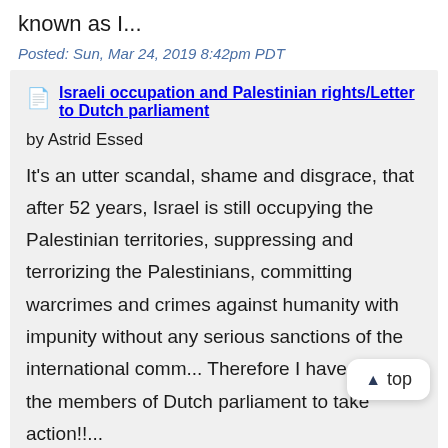known as I...
Posted: Sun, Mar 24, 2019 8:42pm PDT
Israeli occupation and Palestinian rights/Letter to Dutch parliament
by Astrid Essed
It's an utter scandal, shame and disgrace, that after 52 years, Israel is still occupying the Palestinian territories, suppressing and terrorizing the Palestinians, committing warcrimes and crimes against humanity with impunity without any serious sanctions of the international comm... Therefore I have written the members of Dutch parliament to take action!!...